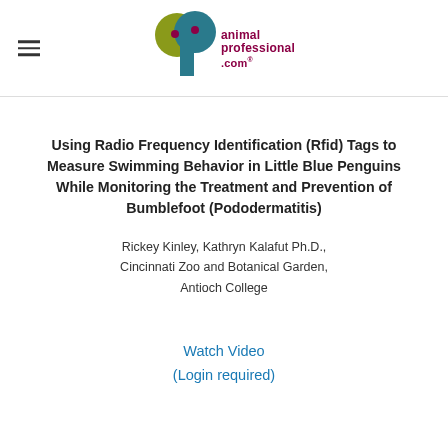animal professional .com (logo)
Using Radio Frequency Identification (Rfid) Tags to Measure Swimming Behavior in Little Blue Penguins While Monitoring the Treatment and Prevention of Bumblefoot (Pododermatitis)
Rickey Kinley, Kathryn Kalafut Ph.D., Cincinnati Zoo and Botanical Garden, Antioch College
Watch Video (Login required)